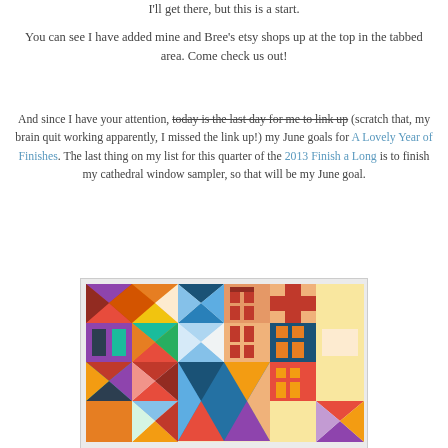I'll get there, but this is a start.
You can see I have added mine and Bree's etsy shops up at the top in the tabbed area. Come check us out!
And since I have your attention, today is the last day for me to link up (scratch that, my brain quit working apparently, I missed the link up!) my June goals for A Lovely Year of Finishes. The last thing on my list for this quarter of the 2013 Finish a Long is to finish my cathedral window sampler, so that will be my June goal.
[Figure (photo): A colorful patchwork quilt sampler with various quilt blocks in reds, blues, oranges, purples, and yellows arranged in a grid pattern.]